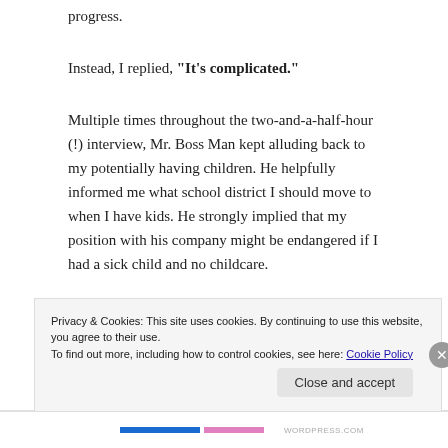progress.
Instead, I replied, “It’s complicated.”
Multiple times throughout the two-and-a-half-hour (!) interview, Mr. Boss Man kept alluding back to my potentially having children. He helpfully informed me what school district I should move to when I have kids. He strongly implied that my position with his company might be endangered if I had a sick child and no childcare.
Mr. Boss Man then told me he suggested his position offered...
Privacy & Cookies: This site uses cookies. By continuing to use this website, you agree to their use.
To find out more, including how to control cookies, see here: Cookie Policy